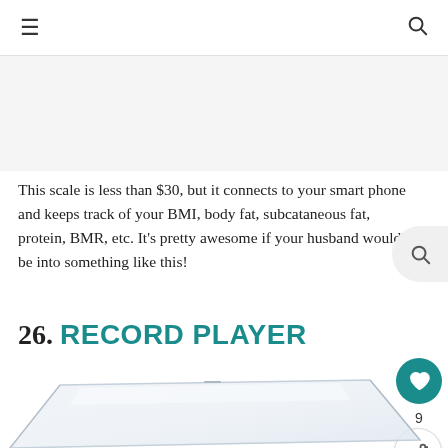≡  🔍
[Figure (photo): Advertisement or blank image area]
This scale is less than $30, but it connects to your smart phone and keeps track of your BMI, body fat, subcataneous fat, protein, BMR, etc. It's pretty awesome if your husband would be into something like this!
26. RECORD PLAYER
[Figure (photo): Partial image of a clear acrylic record player dust cover]